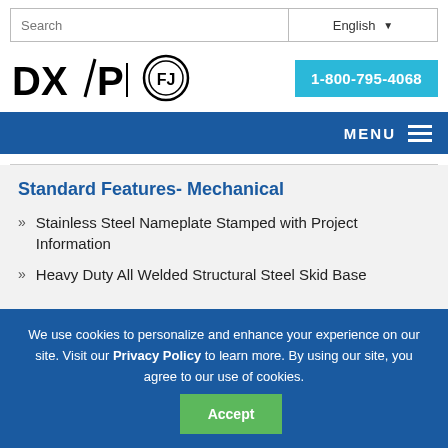Search | English
[Figure (logo): DXP logo with stylized slash and circular FJ badge icon, and phone number button 1-800-795-4068]
MENU
Standard Features- Mechanical
Stainless Steel Nameplate Stamped with Project Information
Heavy Duty All Welded Structural Steel Skid Base
We use cookies to personalize and enhance your experience on our site. Visit our Privacy Policy to learn more. By using our site, you agree to our use of cookies. Accept